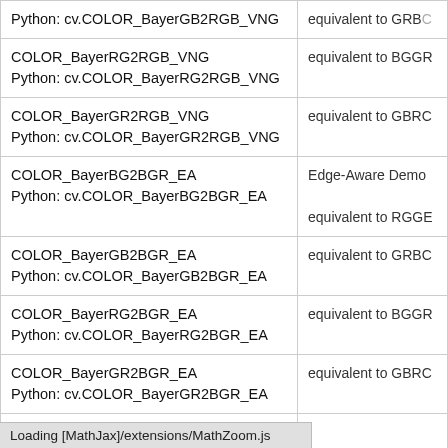| Code constant | Description |
| --- | --- |
| COLOR_BayerGB2RGB_VNG
Python: cv.COLOR_BayerGB2RGB_VNG | equivalent to GRB... |
| COLOR_BayerRG2RGB_VNG
Python: cv.COLOR_BayerRG2RGB_VNG | equivalent to BGGR... |
| COLOR_BayerGR2RGB_VNG
Python: cv.COLOR_BayerGR2RGB_VNG | equivalent to GBRO... |
| COLOR_BayerBG2BGR_EA
Python: cv.COLOR_BayerBG2BGR_EA | Edge-Aware Demo...
equivalent to RGGE... |
| COLOR_BayerGB2BGR_EA
Python: cv.COLOR_BayerGB2BGR_EA | equivalent to GRBC... |
| COLOR_BayerRG2BGR_EA
Python: cv.COLOR_BayerRG2BGR_EA | equivalent to BGGR... |
| COLOR_BayerGR2BGR_EA
Python: cv.COLOR_BayerGR2BGR_EA | equivalent to GBRC... |
| COLOR_BayerRGGB2BGR_EA
Python: cv.COLOR_BayerRGGB2BGR_EA |  |
| COLOR_BayerGRBG2BGR_EA
Python: cv.COLOR_BayerGRBG2BGR_EA |  |
Loading [MathJax]/extensions/MathZoom.js